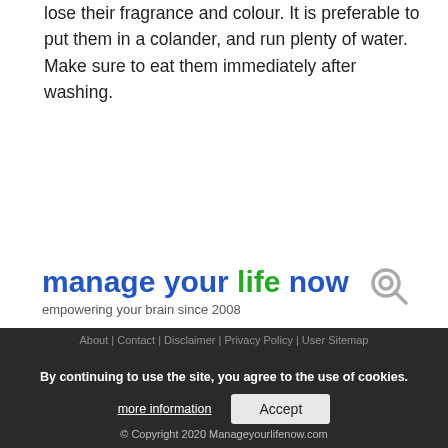lose their fragrance and colour. It is preferable to put them in a colander, and run plenty of water. Make sure to eat them immediately after washing.
[Figure (logo): Website logo for 'manage your life now' with tagline 'empowering your brain since 2008' and a search icon]
By continuing to use the site, you agree to the use of cookies.
more information
Accept
© Copyright 2020 Manageyourlifenow.com